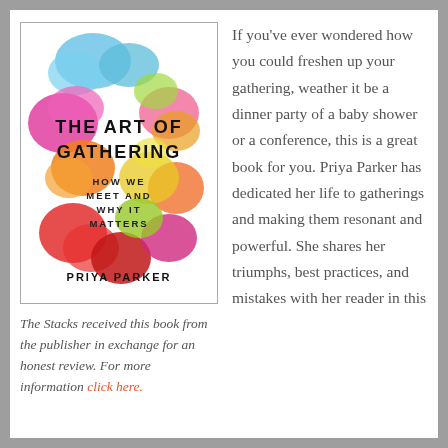[Figure (illustration): Book cover of 'The Art of Gathering: How We Meet and Why It Matters' by Priya Parker, featuring colorful watercolor flower-like shapes in blue, pink, orange, red, yellow and green on a white background with bold black text.]
The Stacks received this book from the publisher in exchange for an honest review. For more information click here.
If you've ever wondered how you could freshen up your gathering, weather it be a dinner party of a baby shower or a conference, this is a great book for you. Priya Parker has dedicated her life to gatherings and making them resonant and powerful. She shares her triumphs, best practices, and mistakes with her reader in this